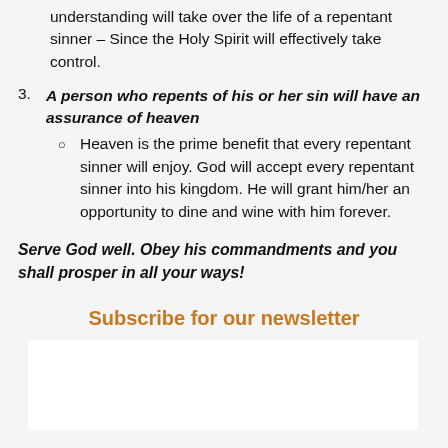understanding will take over the life of a repentant sinner – Since the Holy Spirit will effectively take control.
3. A person who repents of his or her sin will have an assurance of heaven
Heaven is the prime benefit that every repentant sinner will enjoy. God will accept every repentant sinner into his kingdom. He will grant him/her an opportunity to dine and wine with him forever.
Serve God well. Obey his commandments and you shall prosper in all your ways!
Subscribe for our newsletter
[Figure (other): White box/input area for newsletter subscription]